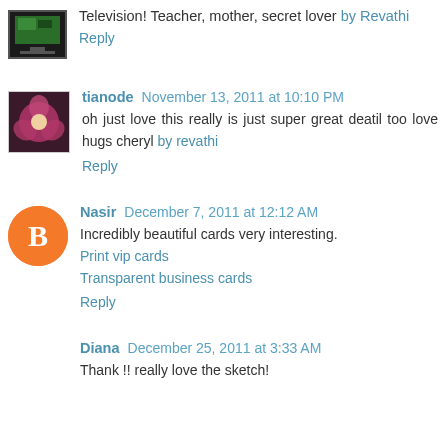Television! Teacher, mother, secret lover by Revathi
Reply
tianode November 13, 2011 at 10:10 PM
oh just love this really is just super great deatil too love hugs cheryl by revathi
Reply
Nasir December 7, 2011 at 12:12 AM
Incredibly beautiful cards very interesting.
Print vip cards
Transparent business cards
Reply
Diana December 25, 2011 at 3:33 AM
Thank !! really love the sketch!